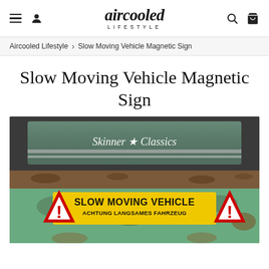aircooled LIFESTYLE — navigation bar with menu, user, search, cart icons
Aircooled Lifestyle > Slow Moving Vehicle Magnetic Sign
Slow Moving Vehicle Magnetic Sign
[Figure (photo): Photo of a vintage VW bus rear showing a 'Slow Moving Vehicle / Achtung Langsames Fahrzeug' yellow magnetic sign flanked by red triangle warning signs, and a 'Skinner Classics' decal on the rear window.]